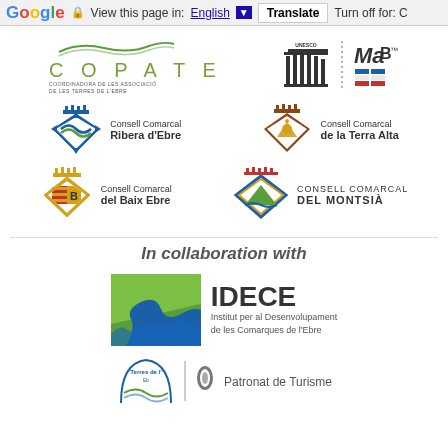Google | View this page in: English | Translate | Turn off for: C
[Figure (logo): COPATE logo with green lettering and subtitle]
[Figure (logo): UNESCO and MAB logos side by side]
[Figure (logo): Consell Comarcal Ribera d'Ebre logo]
[Figure (logo): Consell Comarcal de la Terra Alta logo]
[Figure (logo): Consell Comarcal del Baix Ebre logo]
[Figure (logo): Consell Comarcal del Montsia logo]
In collaboration with
[Figure (logo): IDECE - Institut per al Desenvolupament de les Comarques de l'Ebre logo with green river graphic]
[Figure (logo): Terres de l'Ebre and Patronat de Turisme logos (partial, bottom of page)]